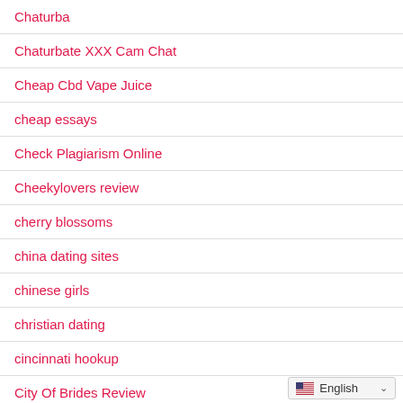Chaturba
Chaturbate XXX Cam Chat
Cheap Cbd Vape Juice
cheap essays
Check Plagiarism Online
Cheekylovers review
cherry blossoms
china dating sites
chinese girls
christian dating
cincinnati hookup
City Of Brides Review